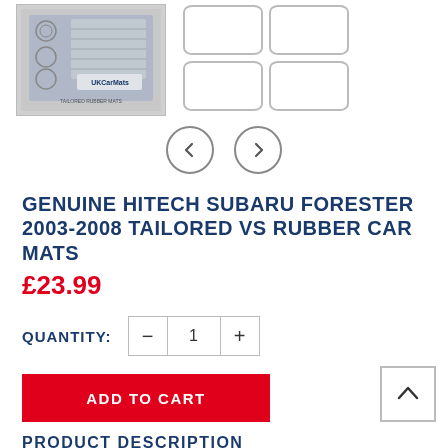[Figure (photo): Product images showing car mat packaging on left and mat layout outlines (4 mat shapes) on right]
[Figure (other): Navigation arrows: left arrow circle and right arrow circle]
GENUINE HITECH SUBARU FORESTER 2003-2008 TAILORED VS RUBBER CAR MATS
£23.99
QUANTITY: 1
ADD TO CART
PRODUCT DESCRIPTION